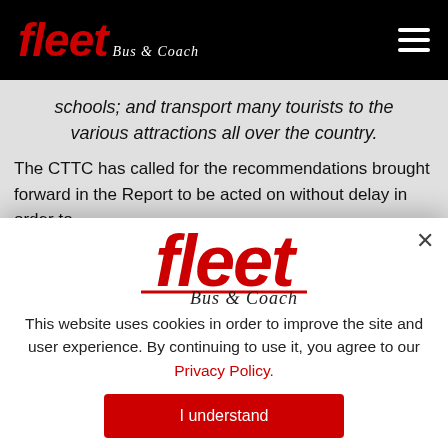fleet Bus & Coach — navigation header
schools; and transport many tourists to the various attractions all over the country.
The CTTC has called for the recommendations brought forward in the Report to be acted on without delay in order to...
[Figure (logo): Fleet Bus & Coach logo — bold italic red 'fleet' with script 'Bus & Coach' below, red underline]
This website uses cookies in order to improve the site and user experience. By continuing to use it, you agree to our Privacy Policy.
I understand